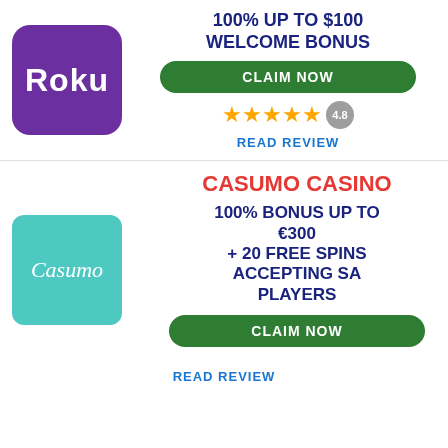[Figure (logo): Roku logo - purple rounded square with white Roku text]
100% UP TO $100 WELCOME BONUS
CLAIM NOW
★★★★★ 4.8
READ REVIEW
CASUMO CASINO
100% BONUS UP TO €300 + 20 FREE SPINS ACCEPTING SA PLAYERS
[Figure (logo): Casumo logo - teal/cyan square with white Casumo italic text]
CLAIM NOW
READ REVIEW